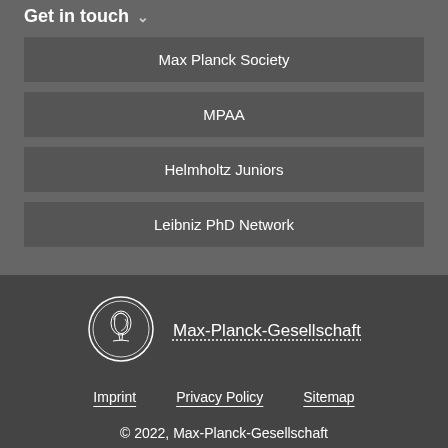Get in touch
Max Planck Society
MPAA
Helmholtz Juniors
Leibniz PhD Network
[Figure (logo): Max-Planck-Gesellschaft circular coin/medallion logo with a profile portrait]
Max-Planck-Gesellschaft
Imprint    Privacy Policy    Sitemap
© 2022, Max-Planck-Gesellschaft